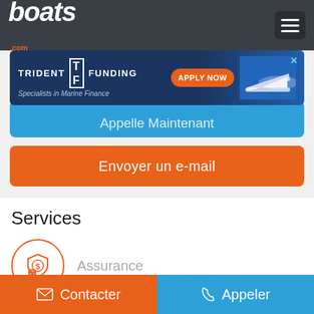boats.com
[Figure (screenshot): Trident Funding advertisement banner: 'TRIDENT F FUNDING Specialists in Marine Finance APPLY NOW' with a boat image]
Appelle Maintenant
Envoyer un e-mail
Services
Assurance
Contacter
Appeler